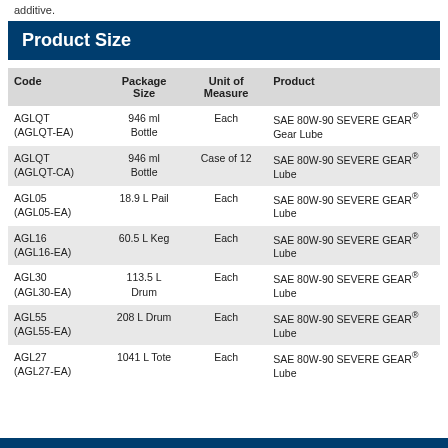additive.
Product Size
| Code | Package Size | Unit of Measure | Product |
| --- | --- | --- | --- |
| AGLQT (AGLQT-EA) | 946 ml Bottle | Each | SAE 80W-90 SEVERE GEAR® Gear Lube |
| AGLQT (AGLQT-CA) | 946 ml Bottle | Case of 12 | SAE 80W-90 SEVERE GEAR® Lube |
| AGL05 (AGL05-EA) | 18.9 L Pail | Each | SAE 80W-90 SEVERE GEAR® Lube |
| AGL16 (AGL16-EA) | 60.5 L Keg | Each | SAE 80W-90 SEVERE GEAR® Lube |
| AGL30 (AGL30-EA) | 113.5 L Drum | Each | SAE 80W-90 SEVERE GEAR® Lube |
| AGL55 (AGL55-EA) | 208 L Drum | Each | SAE 80W-90 SEVERE GEAR® Lube |
| AGL27 (AGL27-EA) | 1041 L Tote | Each | SAE 80W-90 SEVERE GEAR® Lube |